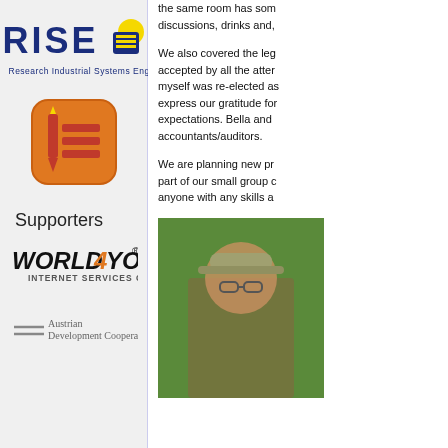[Figure (logo): RISE Research Industrial Systems Engineering logo with yellow/navy icon]
[Figure (logo): Orange app icon with red pencil and table/list rows]
Supporters
[Figure (logo): World4You Internet Services GmbH logo]
[Figure (logo): Austrian Development Cooperation logo]
the same room has som discussions, drinks and,
We also covered the leg accepted by all the atter myself was re-elected as express our gratitude for expectations. Bella and accountants/auditors.
We are planning new pr part of our small group c anyone with any skills a
[Figure (photo): Photo of a man wearing glasses and a cap, outdoors with green foliage]